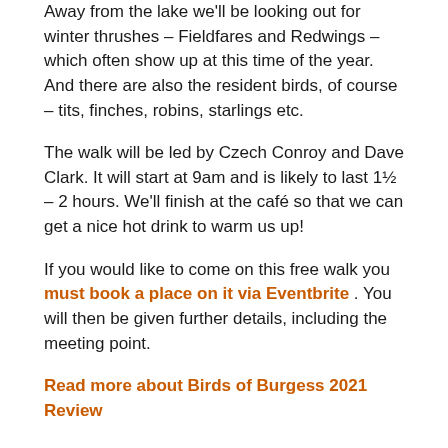Away from the lake we'll be looking out for winter thrushes – Fieldfares and Redwings – which often show up at this time of the year. And there are also the resident birds, of course – tits, finches, robins, starlings etc.
The walk will be led by Czech Conroy and Dave Clark. It will start at 9am and is likely to last 1½ – 2 hours. We'll finish at the café so that we can get a nice hot drink to warm us up!
If you would like to come on this free walk you must book a place on it via Eventbrite . You will then be given further details, including the meeting point.
Read more about Birds of Burgess 2021 Review
Wildlife volunteering
[Figure (photo): Photo of tree canopy with green leaves and branches against sky]
Wildlife habitat maintenance